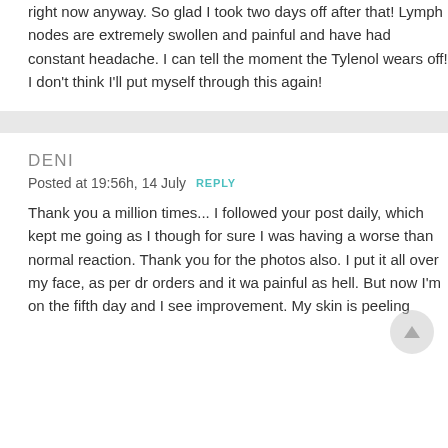right now anyway. So glad I took two days off after that! Lymph nodes are extremely swollen and painful and have had constant headache. I can tell the moment the Tylenol wears off! I don't think I'll put myself through this again!
DENI
Posted at 19:56h, 14 July  REPLY
Thank you a million times... I followed your post daily, which kept me going as I though for sure I was having a worse than normal reaction. Thank you for the photos also. I put it all over my face, as per dr orders and it wa painful as hell. But now I'm on the fifth day and I see improvement. My skin is peeling